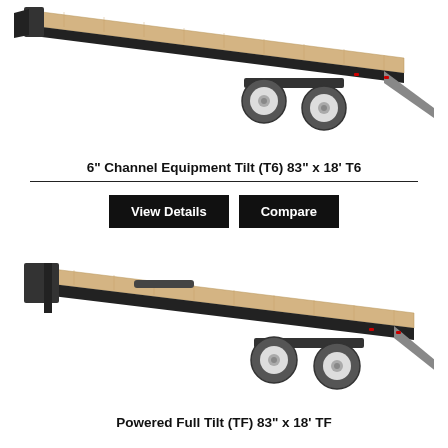[Figure (illustration): Equipment tilt trailer (T6) shown at an angle with wooden deck, dual axle wheels, black frame, and gray ramp at the rear end lowered to the ground.]
6" Channel Equipment Tilt (T6) 83" x 18' T6
[Figure (illustration): Powered full tilt trailer (TF) shown at an angle with wooden deck, dual axle wheels, black frame, and gray ramp at the rear end lowered to the ground.]
Powered Full Tilt (TF) 83" x 18' TF